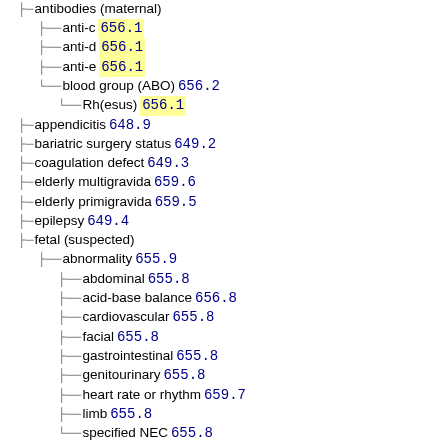antibodies (maternal)
anti-c 656.1
anti-d 656.1
anti-e 656.1
blood group (ABO) 656.2
Rh(esus) 656.1
appendicitis 648.9
bariatric surgery status 649.2
coagulation defect 649.3
elderly multigravida 659.6
elderly primigravida 659.5
epilepsy 649.4
fetal (suspected)
abnormality 655.9
abdominal 655.8
acid-base balance 656.8
cardiovascular 655.8
facial 655.8
gastrointestinal 655.8
genitourinary 655.8
heart rate or rhythm 659.7
limb 655.8
specified NEC 655.8